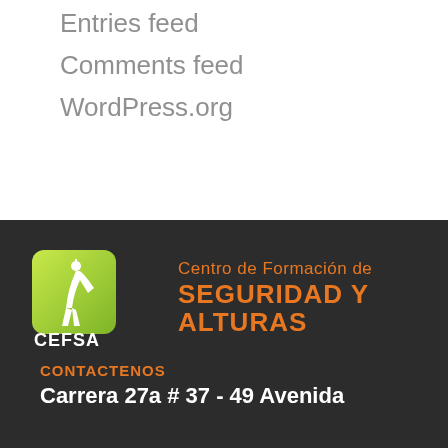Entries feed
Comments feed
WordPress.org
[Figure (logo): CEFSA logo — green square icon with a rappelling figure, text 'Centro de Formación de SEGURIDAD Y ALTURAS' in orange]
CONTACTENOS
Carrera 27a # 37 - 49 Avenida